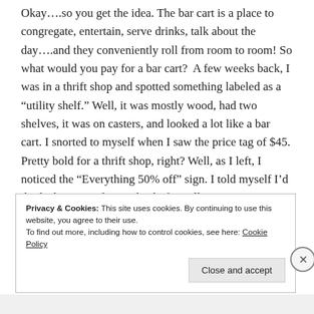Okay….so you get the idea. The bar cart is a place to congregate, entertain, serve drinks, talk about the day….and they conveniently roll from room to room! So what would you pay for a bar cart?  A few weeks back, I was in a thrift shop and spotted something labeled as a “utility shelf.” Well, it was mostly wood, had two shelves, it was on casters, and looked a lot like a bar cart. I snorted to myself when I saw the price tag of $45. Pretty bold for a thrift shop, right? Well, as I left, I noticed the “Everything 50% off” sign. I told myself I’d think about it and come back if I really
Privacy & Cookies: This site uses cookies. By continuing to use this website, you agree to their use.
To find out more, including how to control cookies, see here: Cookie Policy
Close and accept